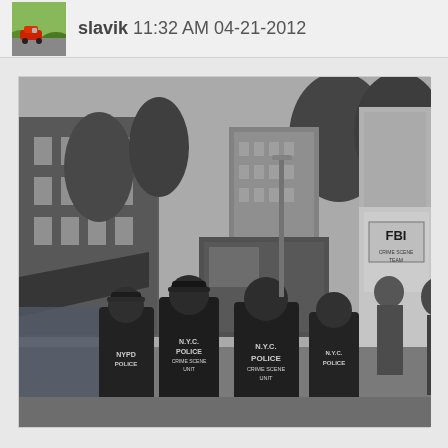slavik 11:32 AM 04-21-2012
[Figure (photo): Black and white photograph of a street scene with NYPD Police Crime Scene Unit officers in jackets standing near an FBI vehicle on a city street with tall buildings and trees in the background.]